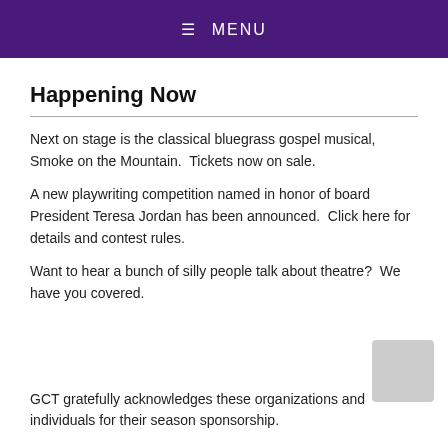≡ MENU
Happening Now
Next on stage is the classical bluegrass gospel musical, Smoke on the Mountain.  Tickets now on sale.
A new playwriting competition named in honor of board President Teresa Jordan has been announced.  Click here for details and contest rules.
Want to hear a bunch of silly people talk about theatre?  We have you covered.
GCT gratefully acknowledges these organizations and individuals for their season sponsorship.